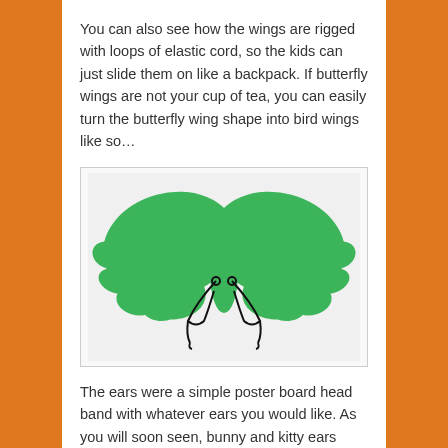You can also see how the wings are rigged with loops of elastic cord, so the kids can just slide them on like a backpack. If butterfly wings are not your cup of tea, you can easily turn the butterfly wing shape into bird wings like so…
[Figure (photo): Green butterfly/bird wings costume piece lying flat, showing the back side with black elastic cord loops attached at the center for wearing like a backpack.]
The ears were a simple poster board head band with whatever ears you would like. As you will soon seen, bunny and kitty ears were very popular, though we did have a couple unicorns. We also has tails the kids could